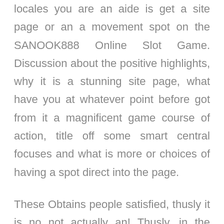locales you are an aide is get a site page or an a movement spot on the SANOOK888 Online Slot Game. Discussion about the positive highlights, why it is a stunning site page, what have you at whatever point before got from it a magnificent game course of action, title off some smart central focuses and what is more or choices of having a spot direct into the page.
These Obtains people satisfied, thusly it is no not actually an! Thusly, in the event that you have sports gambling website page online and in addition you in like course wishes to make extra remuneration, it